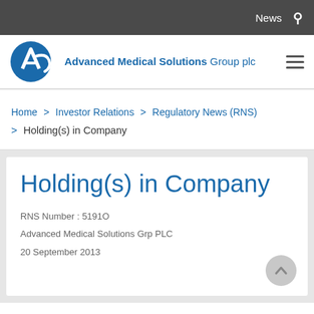News
[Figure (logo): Advanced Medical Solutions Group plc logo with blue circular emblem and text]
Home > Investor Relations > Regulatory News (RNS) > Holding(s) in Company
Holding(s) in Company
RNS Number : 5191O
Advanced Medical Solutions Grp PLC
20 September 2013